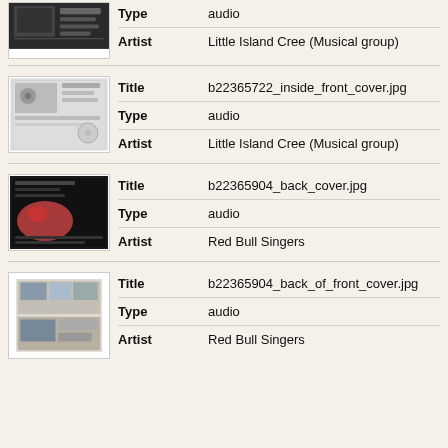| Field | Value |
| --- | --- |
| Type | audio |
| Artist | Little Island Cree (Musical group) |
| Field | Value |
| --- | --- |
| Title | b22365722_inside_front_cover.jpg |
| Type | audio |
| Artist | Little Island Cree (Musical group) |
| Field | Value |
| --- | --- |
| Title | b22365904_back_cover.jpg |
| Type | audio |
| Artist | Red Bull Singers |
| Field | Value |
| --- | --- |
| Title | b22365904_back_of_front_cover.jpg |
| Type | audio |
| Artist | Red Bull Singers |